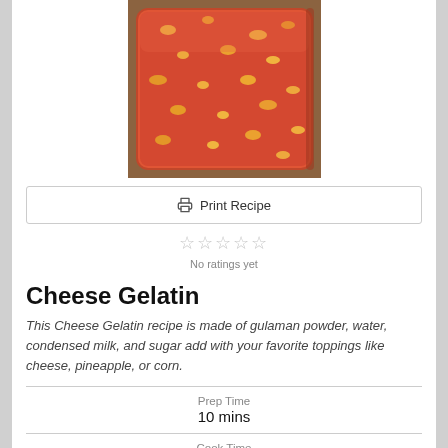[Figure (photo): A rectangular dish of red/orange cheese gelatin with yellow speckles, viewed from above at an angle, on a wooden surface.]
Print Recipe
No ratings yet
Cheese Gelatin
This Cheese Gelatin recipe is made of gulaman powder, water, condensed milk, and sugar add with your favorite toppings like cheese, pineapple, or corn.
Prep Time
10 mins
Cook Time
15 mins
Total Time
25 mins